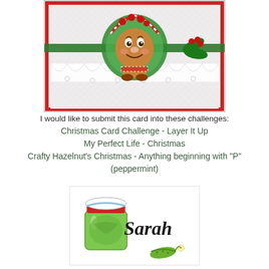[Figure (photo): Christmas card featuring a gingerbread character in the center of a wreath with holly, candy canes, red berries, on a white embossed background with lace trim and pearl decorations, framed with red border.]
I would like to submit this card into these challenges:
Christmas Card Challenge - Layer It Up
My Perfect Life - Christmas
Crafty Hazelnut's Christmas - Anything beginning with "P"
(peppermint)
[Figure (illustration): Signature logo with a green pickle jar and cursive 'Sarah' text with a pickle and flower illustration.]